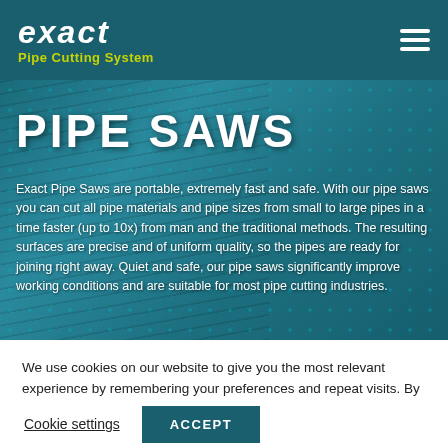exact Pipe Cutting System
PIPE SAWS
Exact Pipe Saws are portable, extremely fast and safe. With our pipe saws you can cut all pipe materials and pipe sizes from small to large pipes in a time faster (up to 10x) from man and the traditional methods. The resulting surfaces are precise and of uniform quality, so the pipes are ready for joining right away. Quiet and safe, our pipe saws significantly improve working conditions and are suitable for most pipe cutting industries.
We use cookies on our website to give you the most relevant experience by remembering your preferences and repeat visits. By clicking “Accept”, you consent to the use of all the cookies.
Cookie settings  ACCEPT